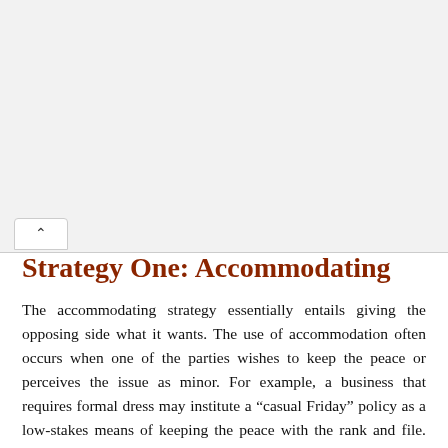Strategy One: Accommodating
The accommodating strategy essentially entails giving the opposing side what it wants. The use of accommodation often occurs when one of the parties wishes to keep the peace or perceives the issue as minor. For example, a business that requires formal dress may institute a “casual Friday” policy as a low-stakes means of keeping the peace with the rank and file. Employees who use accommodation as a primary conflict management strategy, however, may keep track and develop resentment.